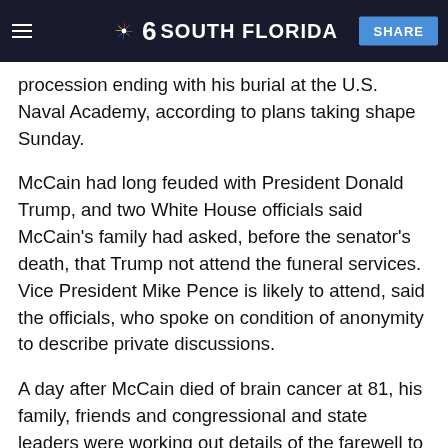NBC 6 SOUTH FLORIDA | SHARE
procession ending with his burial at the U.S. Naval Academy, according to plans taking shape Sunday.
McCain had long feuded with President Donald Trump, and two White House officials said McCain's family had asked, before the senator's death, that Trump not attend the funeral services. Vice President Mike Pence is likely to attend, said the officials, who spoke on condition of anonymity to describe private discussions.
A day after McCain died of brain cancer at 81, his family, friends and congressional and state leaders were working out details of the farewell to the decorated Vietnam War hero, prisoner of war and six-term senator.